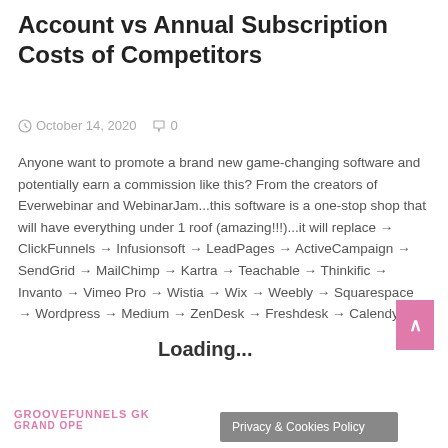Account vs Annual Subscription Costs of Competitors
October 14, 2020   0
Anyone want to promote a brand new game-changing software and potentially earn a commission like this? From the creators of Everwebinar and WebinarJam...this software is a one-stop shop that will have everything under 1 roof (amazing!!!)...it will replace → ClickFunnels → Infusionsoft → LeadPages → ActiveCampaign → SendGrid → MailChimp → Kartra → Teachable → Thinkific → Invanto → Vimeo Pro → Wistia → Wix → Weebly → Squarespace → Wordpress → Medium → ZenDesk → Freshdesk → Calendy →...
[Figure (screenshot): Loading overlay text on top of content]
GROOVEFUNNELS GK GRAND OPE...
Privacy & Cookies Policy